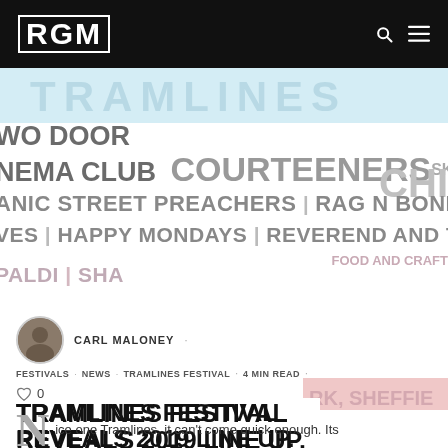RGM
[Figure (photo): Tramlines Festival 2019 lineup poster showing artist names including Two Door Cinema Club, Courteeners, Nile Rodgers & Chic, Manic Street Preachers, Rag N Bone Man, Happy Mondays, Reverend and the Makers, in a light blue and white graphic design]
CARL MALONEY
FESTIVALS  NEWS  TRAMLINES FESTIVAL  ·  4 MIN READ  ·
0
TRAMLINES FESTIVAL REVEALS 2019 LINE UP.
ice one Tramlines, it can't come quick enough. Its